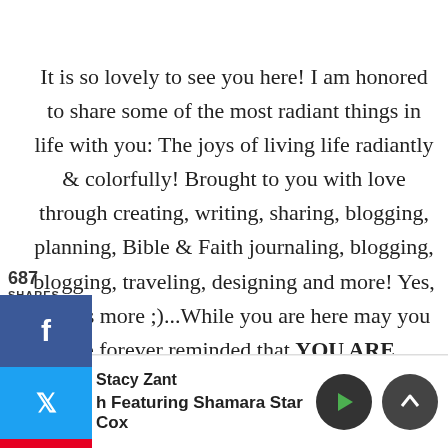It is so lovely to see you here! I am honored to share some of the most radiant things in life with you: The joys of living life radiantly & colorfully! Brought to you with love through creating, writing, sharing, blogging, planning, Bible & Faith journaling, blogging, blogging, traveling, designing and more! Yes, there's more ;)...While you are here may you be forever reminded that YOU ARE RADIANT! Those who look to Him are Radiant!...Psalm 34:5
[Figure (infographic): Social share sidebar with 687 shares count, Facebook (blue), Twitter (blue), and Pinterest (red) share buttons]
[Figure (infographic): Podcast player bar showing Radiant Pearl Living logo thumbnail, author Stacy Zant, track title 'h Featuring Shamara Star Cox', with play and scroll-up control buttons]